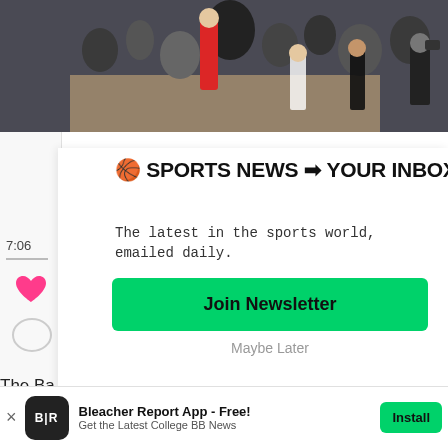[Figure (photo): Basketball game crowd scene with players and officials on a court, shot from above]
🏀 SPORTS NEWS ➡ YOUR INBOX
The latest in the sports world, emailed daily.
Join Newsletter
Maybe Later
The Ba
March
[Figure (logo): Bleacher Report app icon — black rounded square with white B|R letters]
Bleacher Report App - Free!
Get the Latest College BB News
Install